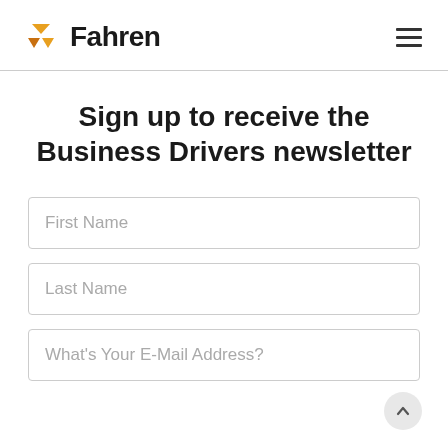Fahren
Sign up to receive the Business Drivers newsletter
First Name
Last Name
What's Your E-Mail Address?